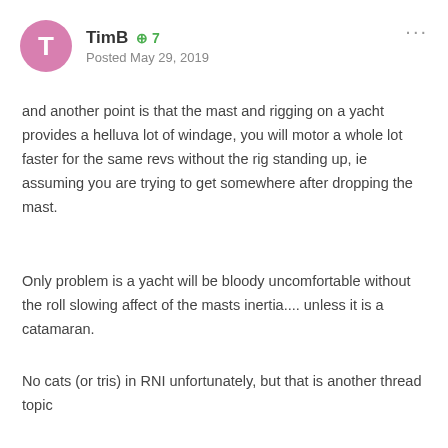TimB +7 Posted May 29, 2019
and another point is that the mast and rigging on a yacht provides a helluva lot of windage, you will motor a whole lot faster for the same revs without the rig standing up, ie assuming you are trying to get somewhere after dropping the mast.
Only problem is a yacht will be bloody uncomfortable without the roll slowing affect of the masts inertia.... unless it is a catamaran.
No cats (or tris) in RNI unfortunately, but that is another thread topic